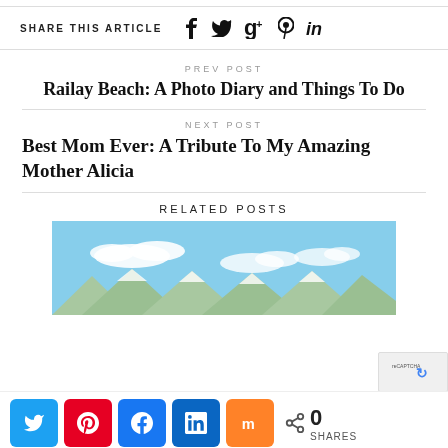SHARE THIS ARTICLE
PREV POST
Railay Beach: A Photo Diary and Things To Do
NEXT POST
Best Mom Ever: A Tribute To My Amazing Mother Alicia
RELATED POSTS
[Figure (photo): Blue sky with white clouds and mountain range silhouette, partial view of related post image]